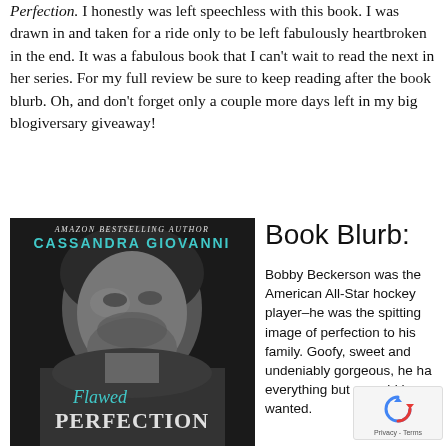Perfection. I honestly was left speechless with this book. I was drawn in and taken for a ride only to be left fabulously heartbroken in the end. It was a fabulous book that I can't wait to read the next in her series. For my full review be sure to keep reading after the book blurb. Oh, and don't forget only a couple more days left in my big blogiversary giveaway!
[Figure (photo): Book cover of 'Flawed Perfection' by Amazon Bestselling Author Cassandra Giovanni — black and white photo of a young man's face, with teal script title 'Flawed Perfection' at bottom.]
Book Blurb:
Bobby Beckerson was the American All-Star hockey player–he was the spitting image of perfection to his family. Goofy, sweet and undeniably gorgeous, he had everything but one girl he wanted.